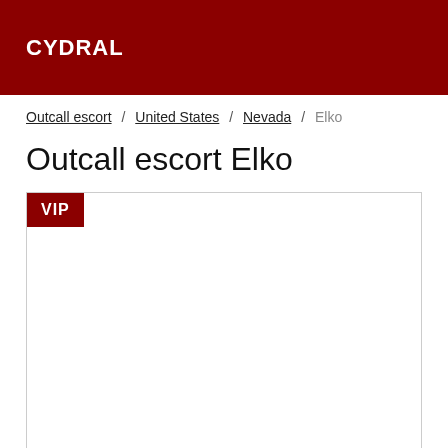CYDRAL
Outcall escort / United States / Nevada / Elko
Outcall escort Elko
[Figure (other): Listing card with VIP badge in the top-left corner. The card is a white rectangle with a border, and a dark red VIP label badge overlaid at the top-left.]